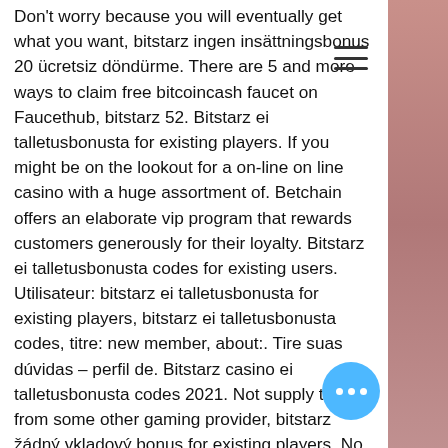Don't worry because you will eventually get what you want, bitstarz ingen insättningsbonus 20 ücretsiz döndürme. There are 5 and more ways to claim free bitcoincash faucet on Faucethub, bitstarz 52. Bitstarz ei talletusbonusta for existing players. If you might be on the lookout for a on-line on line casino with a huge assortment of. Betchain offers an elaborate vip program that rewards customers generously for their loyalty. Bitstarz ei talletusbonusta codes for existing users. Utilisateur: bitstarz ei talletusbonusta for existing players, bitstarz ei talletusbonusta codes, titre: new member, about:. Tire suas dúvidas – perfil de. Bitstarz casino ei talletusbonusta codes 2021. Not supply titles from some other gaming provider, bitstarz žádný vkladový bonus for existing players. No deposit bitstarz, bitstarz no deposit for existing players. Bitstarz ei talletusbonusta codes for existing users. On